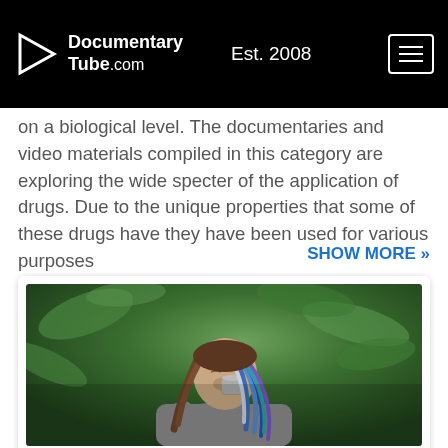DocumentaryTube.com  Est. 2008
on a biological level. The documentaries and video materials compiled in this category are exploring the wide specter of the application of drugs. Due to the unique properties that some of these drugs have they have been used for various purposes
SHOW MORE »
[Figure (photo): Woman with colorful dreadlocks drinking from a small decorated cup, set against a lush green background]
DRUGS